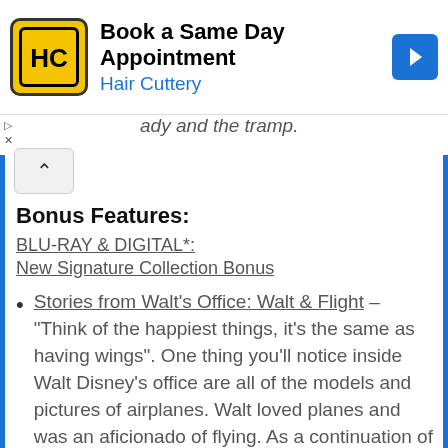[Figure (other): Hair Cuttery advertisement banner with yellow logo, 'Book a Same Day Appointment' headline, 'Hair Cuttery' in blue, and blue arrow icon]
...ady and the tramp.
Bonus Features:
BLU-RAY & DIGITAL*:
New Signature Collection Bonus
Stories from Walt's Office: Walt & Flight – "Think of the happiest things, it's the same as having wings". One thing you'll notice inside Walt Disney's office are all of the models and pictures of airplanes. Walt loved planes and was an aficionado of flying. As a continuation of the "Stories from Walt's Office" series, we'll soar into the world of one of Walt's favorite pastimes and look at